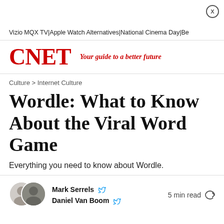Vizio MQX TV  |  Apple Watch Alternatives  |  National Cinema Day  |  Be...
[Figure (logo): CNET logo in red bold serif font with tagline 'Your guide to a better future' in red italic]
Culture > Internet Culture
Wordle: What to Know About the Viral Word Game
Everything you need to know about Wordle.
Mark Serrels  Daniel Van Boom   5 min read